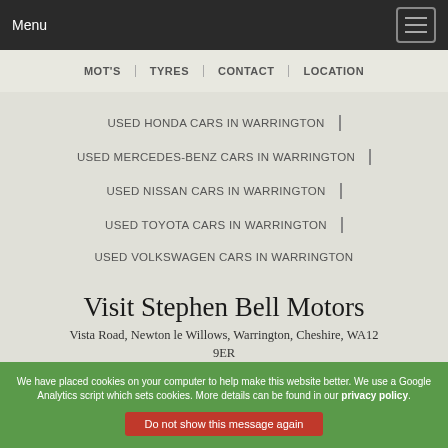Menu
MOT'S
TYRES
CONTACT
LOCATION
USED HONDA CARS IN WARRINGTON
USED MERCEDES-BENZ CARS IN WARRINGTON
USED NISSAN CARS IN WARRINGTON
USED TOYOTA CARS IN WARRINGTON
USED VOLKSWAGEN CARS IN WARRINGTON
Visit Stephen Bell Motors
Vista Road, Newton le Willows, Warrington, Cheshire, WA12 9ER
We have placed cookies on your computer to help make this website better. We use a Google Analytics script which sets cookies. More details can be found in our privacy policy.
Do not show this message again